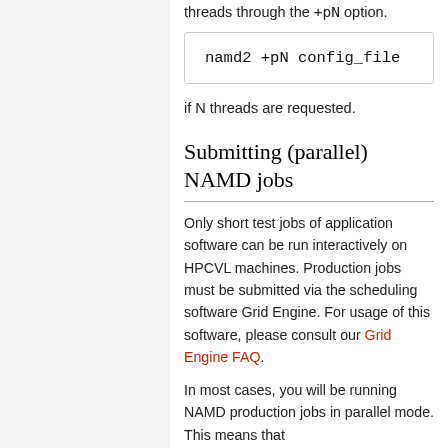threads through the +pN option.
namd2 +pN config_file
if N threads are requested.
Submitting (parallel) NAMD jobs
Only short test jobs of application software can be run interactively on HPCVL machines. Production jobs must be submitted via the scheduling software Grid Engine. For usage of this software, please consult our Grid Engine FAQ.
In most cases, you will be running NAMD production jobs in parallel mode. This means that